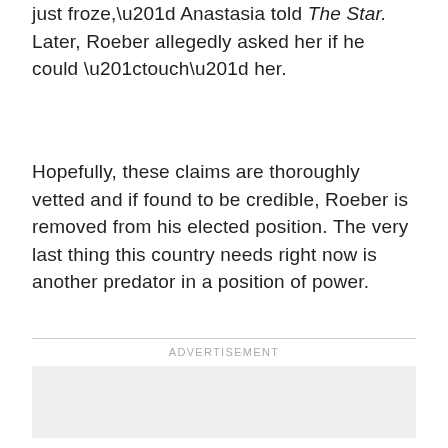just froze,” Anastasia told The Star. Later, Roeber allegedly asked her if he could “touch” her.
Hopefully, these claims are thoroughly vetted and if found to be credible, Roeber is removed from his elected position. The very last thing this country needs right now is another predator in a position of power.
ADVERTISEMENT
[Figure (other): Advertisement placeholder box (light gray rectangle)]